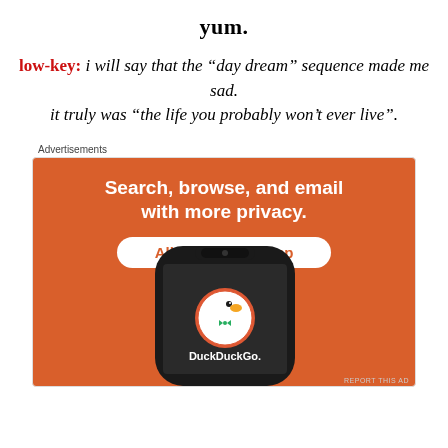yum.
low-key: i will say that the “day dream” sequence made me sad.
it truly was “the life you probably won’t ever live”.
Advertisements
[Figure (illustration): DuckDuckGo advertisement banner on orange background. Text reads: 'Search, browse, and email with more privacy. All in One Free App'. Shows a stylized smartphone with DuckDuckGo logo (duck mascot in circle) and 'DuckDuckGo.' wordmark. Small 'REPORT THIS AD' text in bottom right.]